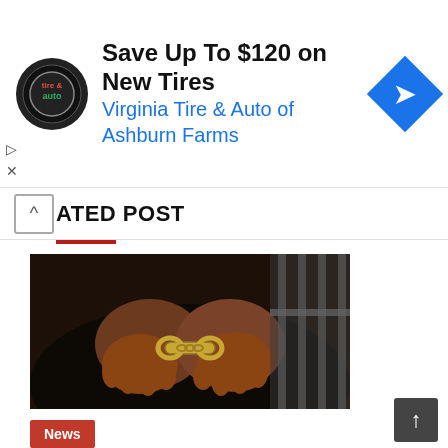[Figure (screenshot): Advertisement banner for Virginia Tire & Auto of Ashburn Farms: Save Up To $120 on New Tires, with circular tire & auto logo and blue diamond arrow icon]
ATED POST
[Figure (photo): Photo of a person with hands cuffed behind their back with handcuffs, near jail bars]
News
Ogun pastor nabbed for defiling 14-year-old chorister